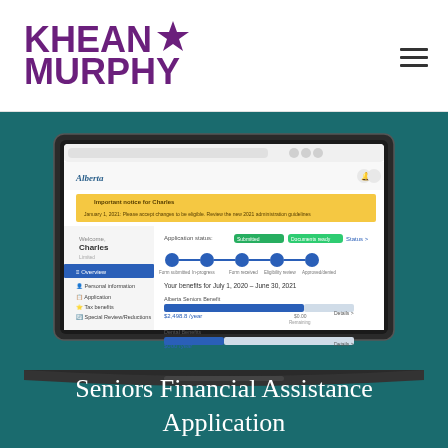[Figure (logo): Khean Murphy logo with purple text and star icon]
[Figure (screenshot): Screenshot of Alberta government seniors financial assistance web application displayed on a laptop, showing account overview with name Charles, navigation menu, application progress steps, and benefits information for July 1 2020 - June 30 2021]
Seniors Financial Assistance Application